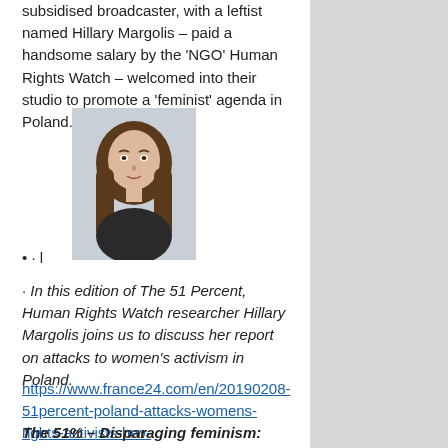subsidised broadcaster, with a leftist named Hillary Margolis – paid a handsome salary by the ‘NGO’ Human Rights Watch – welcomed into their studio to promote a ‘feminist’ agenda in Poland.
[Figure (photo): Headshot photo of a woman with long brown hair against a light background]
· l
· In this edition of The 51 Percent, Human Rights Watch researcher Hillary Margolis joins us to discuss her report on attacks to women’s activism in Poland.
https://www.france24.com/en/20190208-51percent-poland-attacks-womens-rights-activists-hrw-
The 51% – Disparaging feminism: Attacks on women’s rights in Poland – France 24
Margolis is not Polish, and neither is the little bint Rochelle Bouyahi, who hosted the women’s programme called ‘The 51%’.